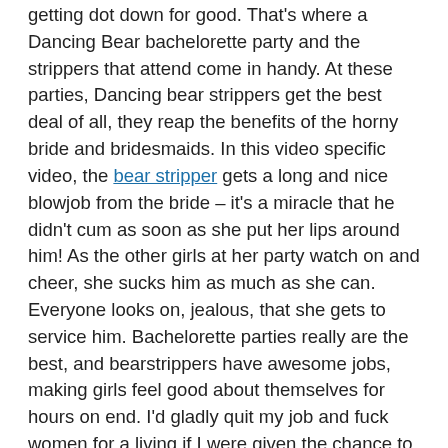getting dot down for good. That's where a Dancing Bear bachelorette party and the strippers that attend come in handy. At these parties, Dancing bear strippers get the best deal of all, they reap the benefits of the horny bride and bridesmaids. In this video specific video, the bear stripper gets a long and nice blowjob from the bride – it's a miracle that he didn't cum as soon as she put her lips around him! As the other girls at her party watch on and cheer, she sucks him as much as she can. Everyone looks on, jealous, that she gets to service him. Bachelorette parties really are the best, and bearstrippers have awesome jobs, making girls feel good about themselves for hours on end. I'd gladly quit my job and fuck women for a living if I were given the chance to do so. Anyone that says they wouldn't do that, they are lying fools or have a small cock that they don't want to show off in a typical CFNM setting.
Watch Male Strippers Fuck Brides in CFNM Videos